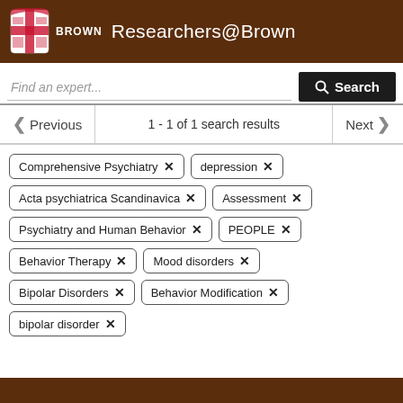Researchers@Brown
Find an expert...
Search
Previous  1 - 1 of 1 search results  Next
Comprehensive Psychiatry ✕
depression ✕
Acta psychiatrica Scandinavica ✕
Assessment ✕
Psychiatry and Human Behavior ✕
PEOPLE ✕
Behavior Therapy ✕
Mood disorders ✕
Bipolar Disorders ✕
Behavior Modification ✕
bipolar disorder ✕